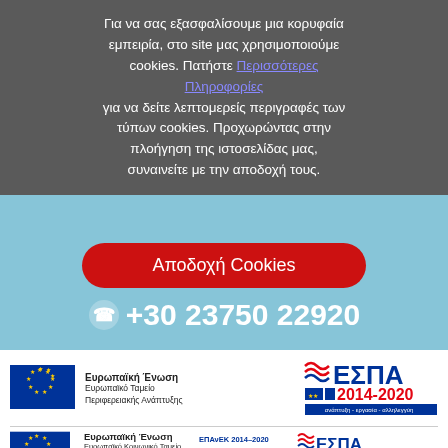Για να σας εξασφαλίσουμε μια κορυφαία εμπειρία, στο site μας χρησιμοποιούμε cookies. Πατήστε Περισσότερες Πληροφορίες για να δείτε λεπτομερείς περιγραφές των τύπων cookies. Προχωρώντας στην πλοήγηση της ιστοσελίδας μας, συναινείτε με την αποδοχή τους.
Αποδοχή Cookies
+30 23750 22920
[Figure (logo): European Union flag logo with text Ευρωπαϊκή Ένωση, Ευρωπαϊκό Ταμείο Περιφερειακής Ανάπτυξης]
[Figure (logo): ΕΣΠΑ 2014-2020 logo with tagline ανάπτυξη - εργασία - αλληλεγγύη]
[Figure (logo): European Union flag logo with text Ευρωπαϊκή Ένωση, Ευρωπαϊκό Κοινωνικό Ταμείο]
[Figure (logo): ΕΠΑνΕΚ 2014-2020 logo - Επιχειρησιακό Πρόγραμμα Ανταγωνιστικότητα Επιχειρηματικότητα Καινοτομία]
[Figure (logo): ΕΣΠΑ 2014-2020 logo second instance]